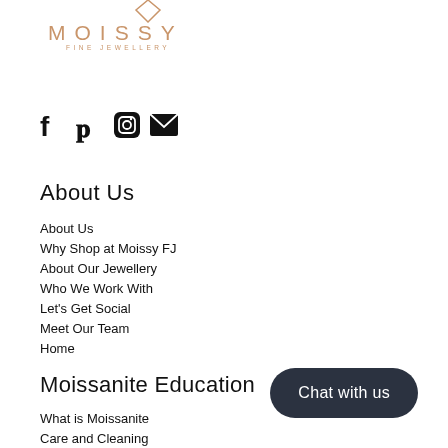[Figure (logo): Moissy Fine Jewellery logo with rose gold color, diamond shape icon above, letters M O I S S Y spaced out, subtitle FINE JEWELLERY]
[Figure (infographic): Social media icons: Facebook (f), Pinterest (p), Instagram (camera), Email (envelope)]
About Us
About Us
Why Shop at Moissy FJ
About Our Jewellery
Who We Work With
Let's Get Social
Meet Our Team
Home
Moissanite Education
What is Moissanite
Care and Cleaning